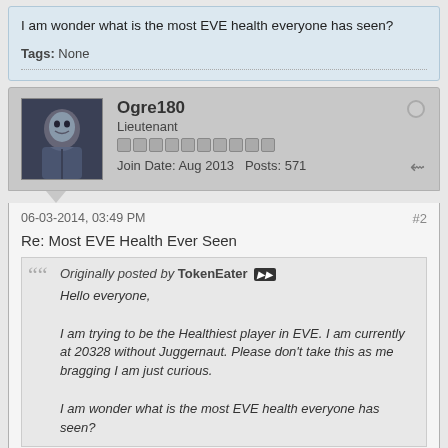I am wonder what is the most EVE health everyone has seen?
Tags: None
Ogre180
Lieutenant
Join Date: Aug 2013   Posts: 571
06-03-2014, 03:49 PM   #2
Re: Most EVE Health Ever Seen
Originally posted by TokenEater
Hello everyone,

I am trying to be the Healthiest player in EVE. I am currently at 20328 without Juggernaut. Please don't take this as me bragging I am just curious.

I am wonder what is the most EVE health everyone has seen?
Wow, you certainly have the proper name for you build. We just